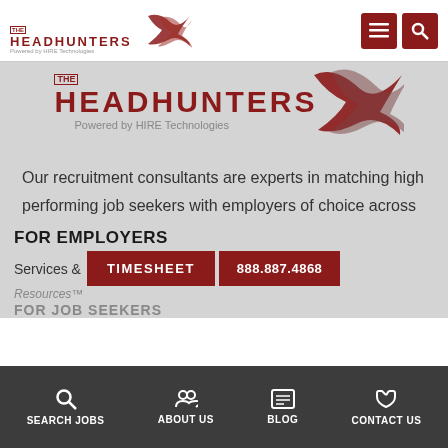[Figure (logo): The Headhunters logo in top navigation bar with menu and search icons]
[Figure (logo): The Headhunters logo large — Powered by HIRE Technologies — with arrow graphic]
Our recruitment consultants are experts in matching high performing job seekers with employers of choice across North America.
© 2022 The Headhunters Recruitment, Inc. All Rights Reserved
FOR EMPLOYERS
Services &
TIMESHEET
888.887.4868
Resources™
FOR JOB SEEKERS
SEARCH JOBS  ABOUT US  BLOG  CONTACT US